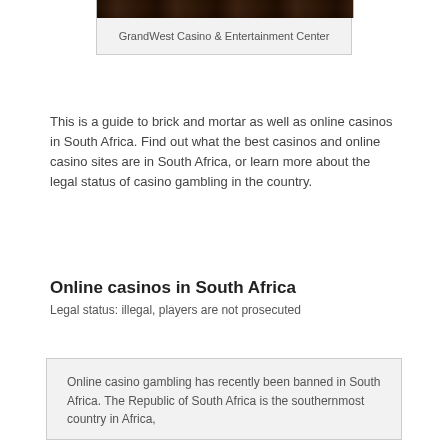[Figure (photo): Top portion of an image showing GrandWest Casino & Entertainment Center exterior at night]
GrandWest Casino & Entertainment Center
This is a guide to brick and mortar as well as online casinos in South Africa. Find out what the best casinos and online casino sites are in South Africa, or learn more about the legal status of casino gambling in the country.
Online casinos in South Africa
Legal status: illegal, players are not prosecuted
Online casino gambling has recently been banned in South Africa. The Republic of South Africa is the southernmost country in Africa,